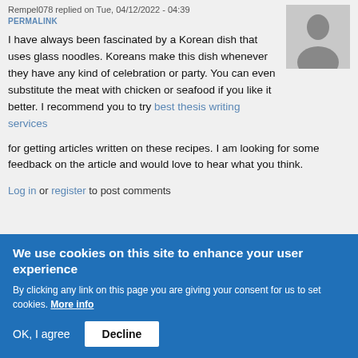Rempel078 replied on Tue, 04/12/2022 - 04:39
PERMALINK
I have always been fascinated by a Korean dish that uses glass noodles. Koreans make this dish whenever they have any kind of celebration or party. You can even substitute the meat with chicken or seafood if you like it better. I recommend you to try best thesis writing services for getting articles written on these recipes. I am looking for some feedback on the article and would love to hear what you think.
Log in or register to post comments
We use cookies on this site to enhance your user experience
By clicking any link on this page you are giving your consent for us to set cookies. More info
OK, I agree
Decline